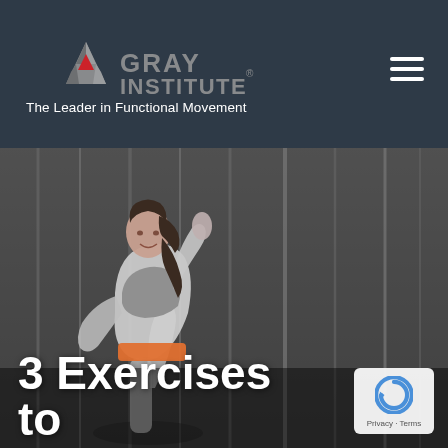Gray Institute – The Leader in Functional Movement
[Figure (photo): Woman in athletic wear performing a high-knee exercise in front of a wooden plank wall background]
3 Exercises to